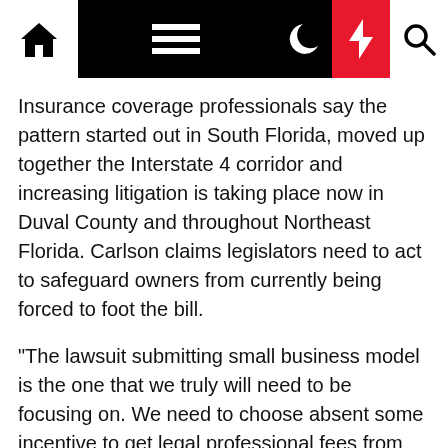News4Jax navigation bar with home, menu, dark mode, breaking news, and search icons
Insurance coverage professionals say the pattern started out in South Florida, moved up together the Interstate 4 corridor and increasing litigation is taking place now in Duval County and throughout Northeast Florida. Carlson claims legislators need to act to safeguard owners from currently being forced to foot the bill.
"The lawsuit submitting small business model is the one that we truly will need to be focusing on. We need to choose absent some incentive to get legal professional fees from settlements from insurance policy corporations that drive these statements and push these lawsuits," Carlson reported.
Copyright 2020 by WJXT News4Jax – All rights reserved.